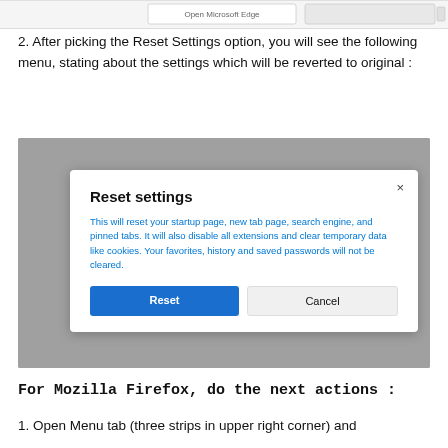[Figure (screenshot): Top strip showing a browser tab bar with 'Open Microsoft Edge' text visible]
2. After picking the Reset Settings option, you will see the following menu, stating about the settings which will be reverted to original :
[Figure (screenshot): Screenshot of a browser Reset settings dialog box on a gray background. The dialog has title 'Reset settings', body text 'This will reset your startup page, new tab page, search engine, and pinned tabs. It will also disable all extensions and clear temporary data like cookies. Your favorites, history and saved passwords will not be cleared.' and two buttons: blue 'Reset' and gray 'Cancel'.]
For Mozilla Firefox, do the next actions :
1. Open Menu tab (three strips in upper right corner) and